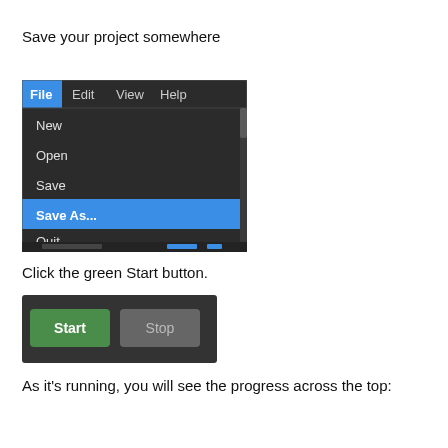Save your project somewhere
[Figure (screenshot): Dark-themed application menu showing File menu open with options: New, Open, Save, Save As... (highlighted in blue), Quit]
Click the green Start button.
[Figure (screenshot): Dark-themed toolbar showing a green Start button and a grey Stop button]
As it's running, you will see the progress across the top: